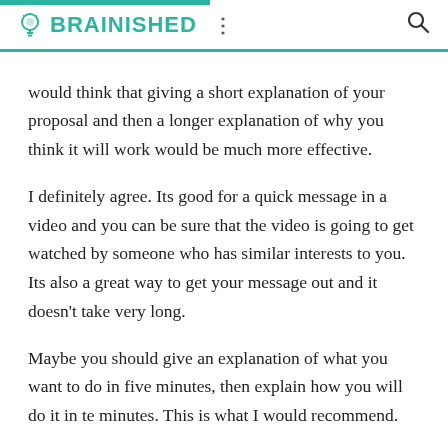BRAINISHED
would think that giving a short explanation of your proposal and then a longer explanation of why you think it will work would be much more effective.
I definitely agree. Its good for a quick message in a video and you can be sure that the video is going to get watched by someone who has similar interests to you. Its also a great way to get your message out and it doesn't take very long.
Maybe you should give an explanation of what you want to do in five minutes, then explain how you will do it in te minutes. This is what I would recommend.
One way to increase the success of video marketing is to